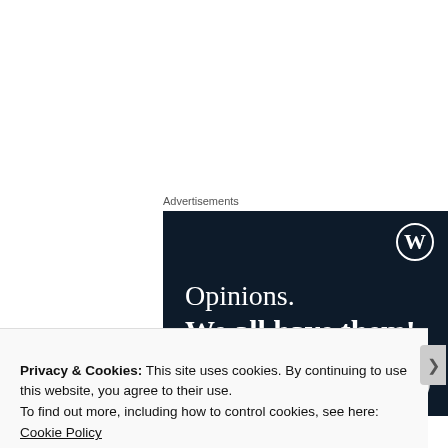Advertisements
[Figure (illustration): WordPress advertisement banner with dark navy background showing WordPress logo (W in circle) in top right, text 'Opinions. We all have them!' in white serif font, a pink/magenta button at bottom left, and a white circle at bottom right.]
Privacy & Cookies: This site uses cookies. By continuing to use this website, you agree to their use.
To find out more, including how to control cookies, see here: Cookie Policy
Close and accept